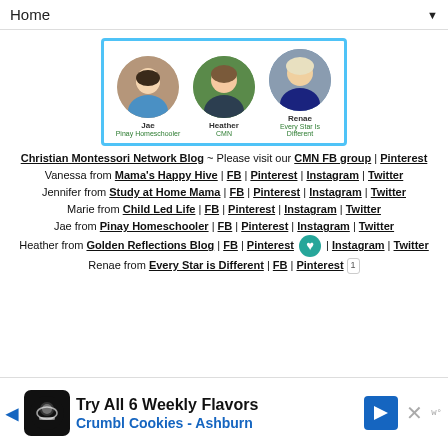Home ▼
[Figure (photo): Three circular profile photos of bloggers: Jae (Pinay Homeschooler), Heather (CMN), and Renae (Every Star Is Different), displayed inside a light-blue bordered banner.]
Christian Montessori Network Blog ~ Please visit our CMN FB group | Pinterest
Vanessa from Mama's Happy Hive | FB | Pinterest | Instagram | Twitter
Jennifer from Study at Home Mama | FB | Pinterest | Instagram | Twitter
Marie from Child Led Life | FB | Pinterest | Instagram | Twitter
Jae from Pinay Homeschooler | FB | Pinterest | Instagram | Twitter
Heather from Golden Reflections Blog | FB | Pinterest | Instagram | Twitter
Renae from Every Star is Different | FB | Pinterest
[Figure (screenshot): Advertisement banner: Try All 6 Weekly Flavors - Crumbl Cookies Ashburn, with arrow and close button]